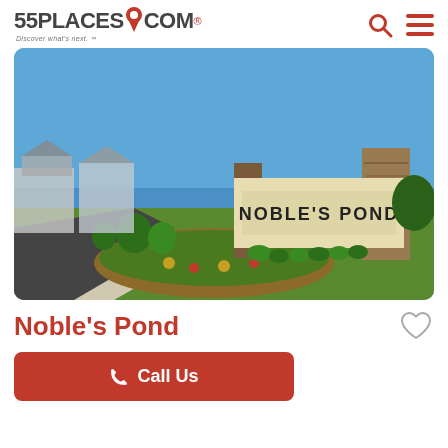55PLACES.COM – Discover what's next.
[Figure (photo): Entrance sign for Noble's Pond community. Stone pillars with 'NOBLE'S POND' text on a limestone wall, flanked by landscaping, a curved walkway, and residential buildings in the background under a clear blue sky.]
Noble's Pond
Call Us